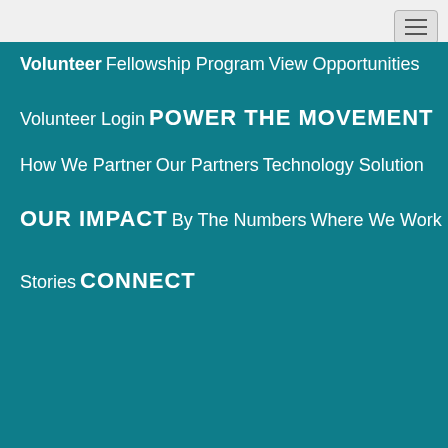Volunteer
Fellowship Program
View Opportunities
Volunteer Login
POWER THE MOVEMENT
How We Partner
Our Partners
Technology Solution
OUR IMPACT
By The Numbers
Where We Work
Stories
CONNECT